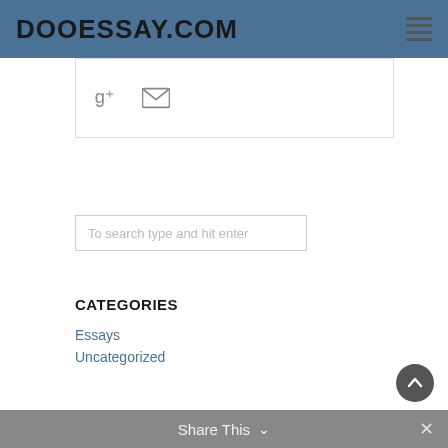DOOESSAY.COM
[Figure (other): Social sharing icons: Google+ and email envelope icons inside a bordered box]
To search type and hit enter
CATEGORIES
Essays
Uncategorized
Share This